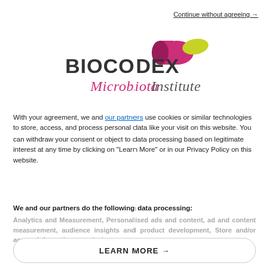Continue without agreeing →
[Figure (logo): Biocodex Microbiota Institute logo with magenta pill shape and yellow-green oval, text BIOCODEX in dark grey and Microbiota Institute in magenta italic script]
With your agreement, we and our partners use cookies or similar technologies to store, access, and process personal data like your visit on this website. You can withdraw your consent or object to data processing based on legitimate interest at any time by clicking on "Learn More" or in our Privacy Policy on this website.
We and our partners do the following data processing: Analytics and Measurement, Personalised ads and content, ad and content measurement, audience insights and product development, Store and/or access information on a device
LEARN MORE →